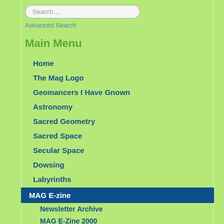Search ...
Advanced Search
Main Menu
Home
The Mag Logo
Geomancers I Have Gnown
Astronomy
Sacred Geometry
Sacred Space
Secular Space
Dowsing
Labyrinths
MAG E-zine
Newsletter Archive
MAG E-Zine 2000
MAG E-Zine 1999
MAG E-Zine 1998
MAG E-Zine 1997
No 8: Winter Solstice